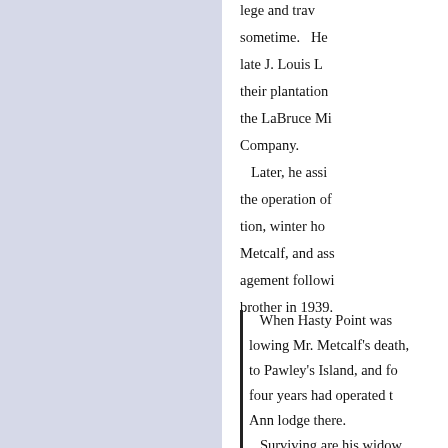[Figure (other): Left panel with light blue/lavender background, no text content]
lege and trav sometime. He late J. Louis L their plantation the LaBruce Mi Company. Later, he assi the operation of tion, winter ho Metcalf, and ass agement followi brother in 1939.
When Hasty Point was lowing Mr. Metcalf's death, to Pawley's Island, and fo four years had operated t Ann lodge there. Surviving are his widow, Miss Clothilde Geisendor